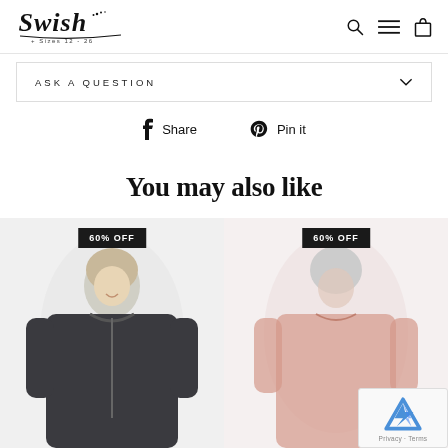Swish + Sizes 12 - 26
ASK A QUESTION
Share  Pin it
You may also like
[Figure (photo): Product photo of a model wearing a dark zip-up jacket, with a 60% OFF badge overlay]
[Figure (photo): Product photo of a model wearing a pink/red top, with a 60% OFF badge overlay]